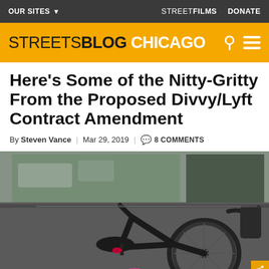OUR SITES ▾   STREETFILMS   DONATE
STREETSBLOG CHICAGO
Here's Some of the Nitty-Gritty From the Proposed Divvy/Lyft Contract Amendment
By Steven Vance | Mar 29, 2019 | 💬 8 COMMENTS
[Figure (photo): Close-up photo of a Divvy bike (dark/black colored bikeshare bicycle) parked in front of a building with a reflective glass facade, showing the seat, handlebars, frame, and wheel.]